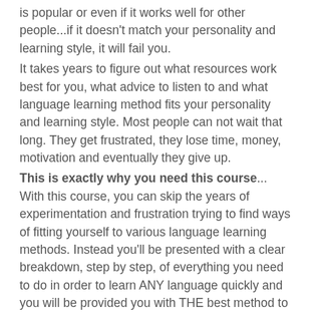is popular or even if it works well for other people...if it doesn't match your personality and learning style, it will fail you.
It takes years to figure out what resources work best for you, what advice to listen to and what language learning method fits your personality and learning style. Most people can not wait that long. They get frustrated, they lose time, money, motivation and eventually they give up.
This is exactly why you need this course... With this course, you can skip the years of experimentation and frustration trying to find ways of fitting yourself to various language learning methods. Instead you'll be presented with a clear breakdown, step by step, of everything you need to do in order to learn ANY language quickly and you will be provided you with THE best method to reach fluency for you. This a method that took me 10 long years and learning 7 languages to develop. It's a method that finally adapts itself to you instead of the other way around.